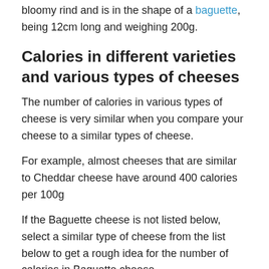bloomy rind and is in the shape of a baguette, being 12cm long and weighing 200g.
Calories in different varieties and various types of cheeses
The number of calories in various types of cheese is very similar when you compare your cheese to a similar types of cheese.
For example, almost cheeses that are similar to Cheddar cheese have around 400 calories per 100g
If the Baguette cheese is not listed below, select a similar type of cheese from the list below to get a rough idea for the number of calories in Baguette cheese.
The calorie lists are sortable by clicking the up and down arrows in the heading columns
| Cheese type | Calories per 100g |
| --- | --- |